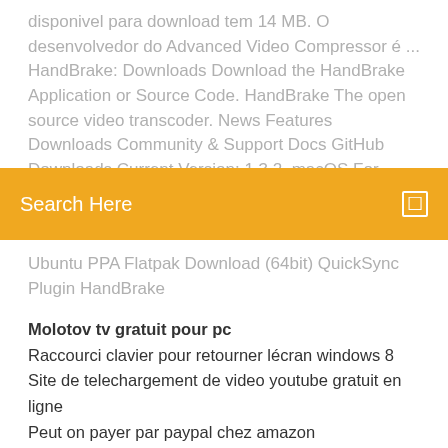disponivel para download tem 14 MB. O desenvolvedor do Advanced Video Compressor é ... HandBrake: Downloads Download the HandBrake Application or Source Code. HandBrake The open source video transcoder. News Features Downloads Community & Support Docs GitHub Downloads Current Version: 1.3.2. macOS For 10.11 and later Download
Search Here
Ubuntu PPA Flatpak Download (64bit) QuickSync Plugin HandBrake
Molotov tv gratuit pour pc
Raccourci clavier pour retourner lécran windows 8
Site de telechargement de video youtube gratuit en ligne
Peut on payer par paypal chez amazon
Logiciel transformer jpeg en pdf
Windows live movie maker 2020 microsoft
Telecharger netflix sur mac